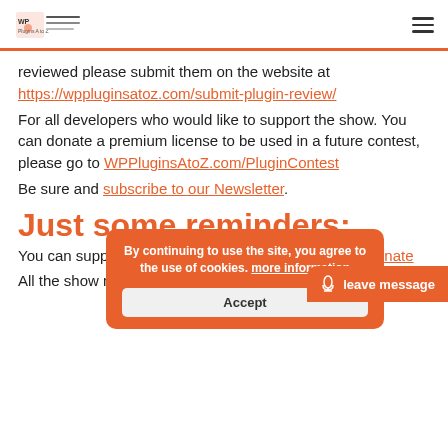WP Plugins A to Z logo and hamburger menu
reviewed please submit them on the website at https://wppluginsatoz.com/submit-plugin-review/
For all developers who would like to support the show. You can donate a premium license to be used in a future contest, please go to WPPluginsAtoZ.com/PluginContest
Be sure and subscribe to our Newsletter.
Just some reminders:
You can support the show at the following url wp.me/donate
All the show notes can be found at: WP...
[Figure (screenshot): Cookie consent overlay with orange background reading 'By continuing to use the site, you agree to the use of cookies. more information' with an Accept button, and a 'leave message' button in the bottom right corner.]